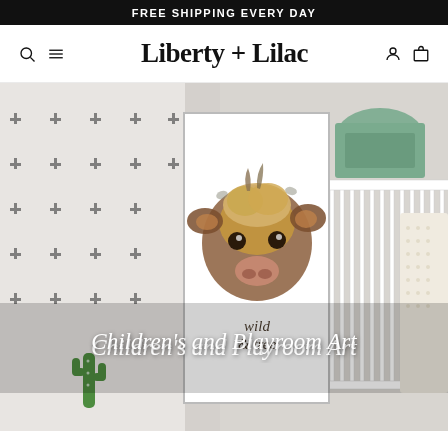FREE SHIPPING EVERY DAY
Liberty + Lilac
[Figure (photo): Hero banner image showing a children's nursery room with a white crib, green bedding, and a framed watercolor print of a baby cow with text 'wild & free'. Black cross pattern wall on the left, green cactus print visible. Text overlay reads: Children's and Playroom Art]
Children's and Playroom Art